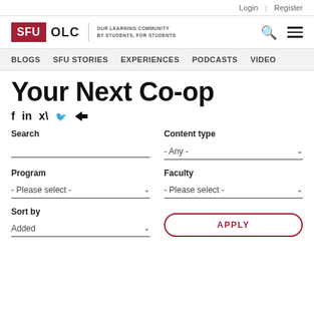Login | Register
[Figure (logo): SFU OLC - Our Learning Community, By Students, For Students logo with search and hamburger menu icons]
BLOGS  SFU STORIES  EXPERIENCES  PODCASTS  VIDEO
Your Next Co-op
f  in  (twitter)  (share)
Search
Content type
- Any -
Program
Faculty
- Please select -
- Please select -
Sort by
Added
APPLY